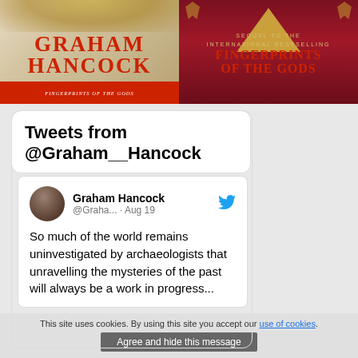[Figure (photo): Two book covers: left is Graham Hancock 'Bestselling Author Fingerprints of the Gods'; right is 'Sequel to the International Bestselling Fingerprints of the Gods']
Tweets from @Graham__Hancock
[Figure (screenshot): Tweet from Graham Hancock (@Graha... · Aug 19): So much of the world remains uninvestigated by archaeologists that unravelling the mysteries of the past will always be a work in progress...]
Recommend 119
This site uses cookies. By using this site you accept our use of cookies.
Agree and hide this message